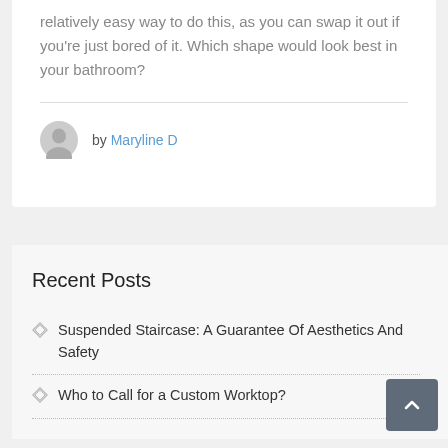relatively easy way to do this, as you can swap it out if you're just bored of it. Which shape would look best in your bathroom?
by Maryline D
Recent Posts
Suspended Staircase: A Guarantee Of Aesthetics And Safety
Who to Call for a Custom Worktop?